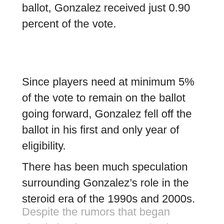ballot, Gonzalez received just 0.90 percent of the vote.
Since players need at minimum 5% of the vote to remain on the ballot going forward, Gonzalez fell off the ballot in his first and only year of eligibility.
There has been much speculation surrounding Gonzalez’s role in the steroid era of the 1990s and 2000s.
Despite the rumors that began circulating in 2006, Gonzalez has adamantly denied steroid